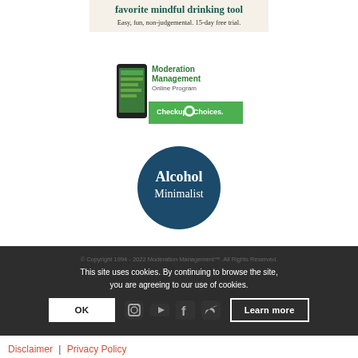[Figure (illustration): Promotional banner with text 'favorite mindful drinking tool' and 'Easy, fun, non-judgemental. 15-day free trial.' on a beige background]
[Figure (logo): Moderation Management Online Program logo with Checkup and Choices branding and smartphone image]
[Figure (logo): Alcohol Minimalist circular dark blue logo with white text]
This site uses cookies. By continuing to browse the site, you are agreeing to our use of cookies.
OK
Learn more
© Copyright 1994 - 2022 Moderation Management™. All Rights Reserved.
[Figure (illustration): Social media icons: Instagram, YouTube, Facebook, Twitter]
Disclaimer | Privacy Policy